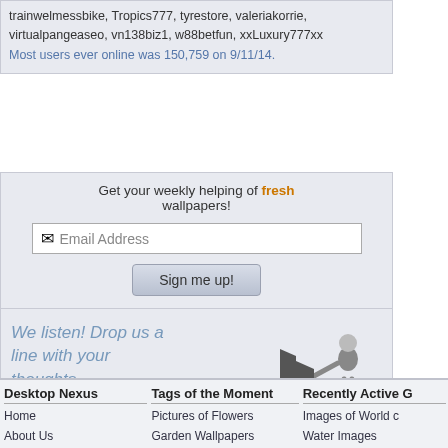trainwelmessbike, Tropics777, tyrestore, valeriakorrie, virtualpangeaseo, vn138biz1, w88betfun, xxLuxury777xx
Most users ever online was 150,759 on 9/11/14.
Get your weekly helping of fresh wallpapers!
Email Address
Sign me up!
We listen! Drop us a line with your thoughts, comments, or feedback!
Support This Site
Desktop Nexus
Home
About Us
Popular Wallpapers
Popular Tags
Community Stats
Tags of the Moment
Pictures of Flowers
Garden Wallpapers
Church Images
Obama Pictures
Sunset Pictures
Recently Active G
Images of World c
Water Images
Wallpapers of Sea
Pretty or Beautiful
Pop Pop Wallpa